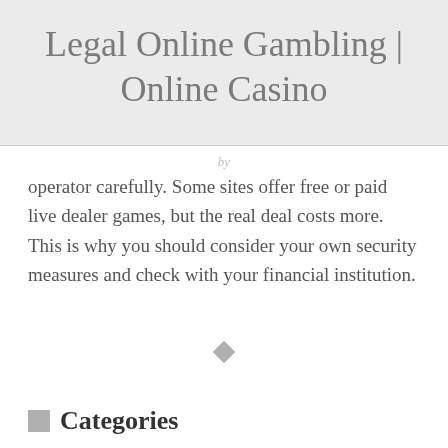Legal Online Gambling | Online Casino
operator carefully. Some sites offer free or paid live dealer games, but the real deal costs more. This is why you should consider your own security measures and check with your financial institution.
Categories